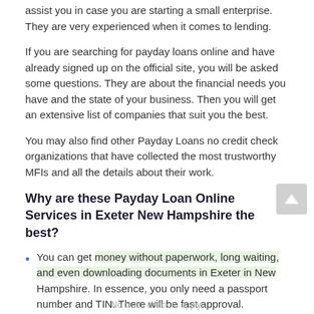assist you in case you are starting a small enterprise. They are very experienced when it comes to lending.
If you are searching for payday loans online and have already signed up on the official site, you will be asked some questions. They are about the financial needs you have and the state of your business. Then you will get an extensive list of companies that suit you the best.
You may also find other Payday Loans no credit check organizations that have collected the most trustworthy MFIs and all the details about their work.
Why are these Payday Loan Online Services in Exeter New Hampshire the best?
You can get money without paperwork, long waiting, and even downloading documents in Exeter in New Hampshire. In essence, you only need a passport number and TIN. There will be fast approval.